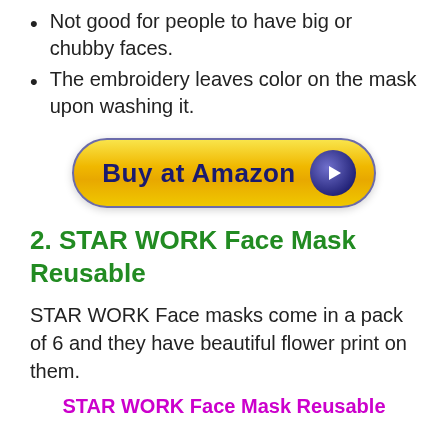Not good for people to have big or chubby faces.
The embroidery leaves color on the mask upon washing it.
[Figure (other): Buy at Amazon button — yellow pill-shaped button with dark blue border, bold dark blue text 'Buy at Amazon' and a dark blue circular play button icon on the right.]
2. STAR WORK Face Mask Reusable
STAR WORK Face masks come in a pack of 6 and they have beautiful flower print on them.
STAR WORK Face Mask Reusable